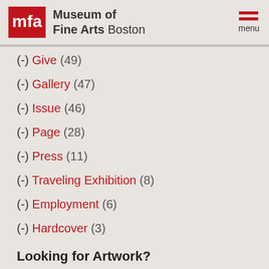Museum of Fine Arts Boston
(-) Give (49)
(-) Gallery (47)
(-) Issue (46)
(-) Page (28)
(-) Press (11)
(-) Traveling Exhibition (8)
(-) Employment (6)
(-) Hardcover (3)
Looking for Artwork?
Please use our Collections Search to complete or